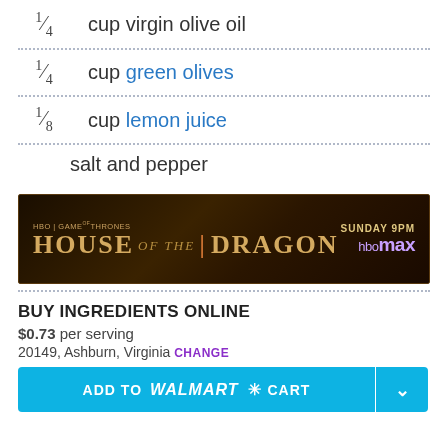1/4 cup virgin olive oil
1/4 cup green olives
1/8 cup lemon juice
salt and pepper
[Figure (other): HBO | Game of Thrones - House of the Dragon advertisement banner. Sunday 9PM on HBO Max.]
BUY INGREDIENTS ONLINE
$0.73 per serving
20149, Ashburn, Virginia CHANGE
ADD TO Walmart CART